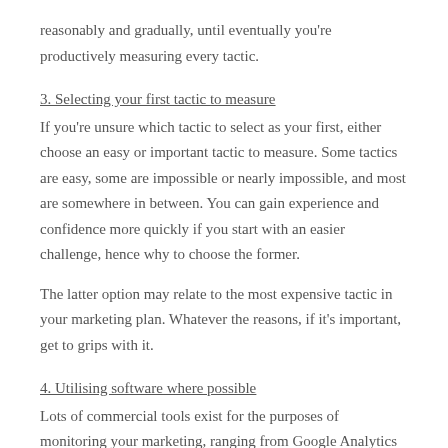reasonably and gradually, until eventually you're productively measuring every tactic.
3. Selecting your first tactic to measure
If you're unsure which tactic to select as your first, either choose an easy or important tactic to measure. Some tactics are easy, some are impossible or nearly impossible, and most are somewhere in between. You can gain experience and confidence more quickly if you start with an easier challenge, hence why to choose the former.
The latter option may relate to the most expensive tactic in your marketing plan. Whatever the reasons, if it's important, get to grips with it.
4. Utilising software where possible
Lots of commercial tools exist for the purposes of monitoring your marketing, ranging from Google Analytics (website